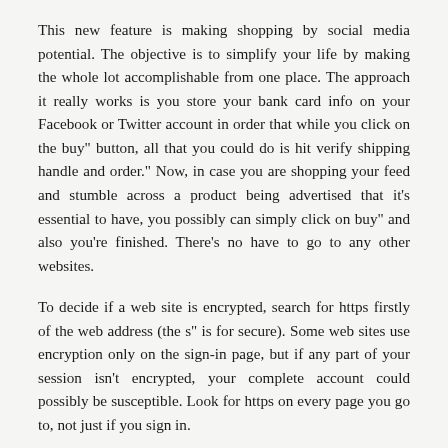This new feature is making shopping by social media potential. The objective is to simplify your life by making the whole lot accomplishable from one place. The approach it really works is you store your bank card info on your Facebook or Twitter account in order that while you click on the buy" button, all that you could do is hit verify shipping handle and order." Now, in case you are shopping your feed and stumble across a product being advertised that it's essential to have, you possibly can simply click on buy" and also you're finished. There's no have to go to any other websites.
To decide if a web site is encrypted, search for https firstly of the web address (the s" is for secure). Some web sites use encryption only on the sign-in page, but if any part of your session isn't encrypted, your complete account could possibly be susceptible. Look for https on every page you go to, not just if you sign in.
We've seen incredible success with our Vogue and GQ Online Shopping Nights. The most